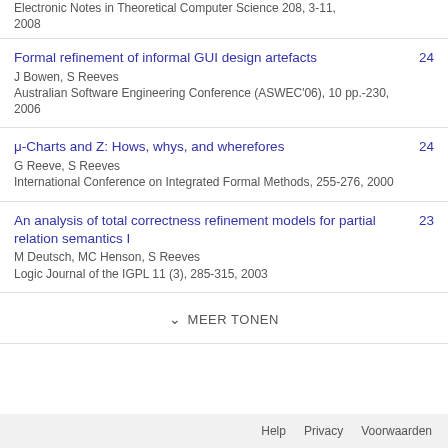Electronic Notes in Theoretical Computer Science 208, 3-11, 2008
Formal refinement of informal GUI design artefacts
J Bowen, S Reeves
Australian Software Engineering Conference (ASWEC'06), 10 pp.-230, 2006
24
μ-Charts and Z: Hows, whys, and wherefores
G Reeve, S Reeves
International Conference on Integrated Formal Methods, 255-276, 2000
24
An analysis of total correctness refinement models for partial relation semantics I
M Deutsch, MC Henson, S Reeves
Logic Journal of the IGPL 11 (3), 285-315, 2003
23
MEER TONEN
Help   Privacy   Voorwaarden